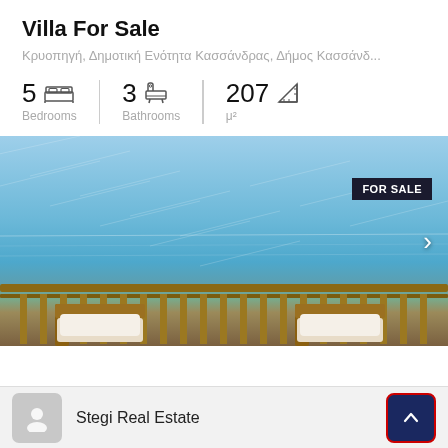Villa For Sale
Κρυοπηγή, Δημοτική Ενότητα Κασσάνδρας, Δήμος Κασσάνδ...
5 Bedrooms | 3 Bathrooms | 207 μ²
[Figure (photo): Beachfront villa terrace with wooden chairs and white cushions overlooking a blue sea, with a FOR SALE badge in the top right corner]
Stegi Real Estate